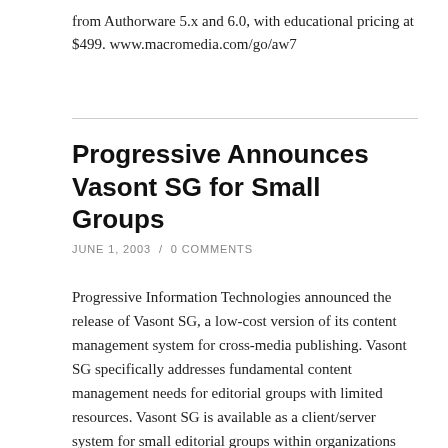from Authorware 5.x and 6.0, with educational pricing at $499. www.macromedia.com/go/aw7
Progressive Announces Vasont SG for Small Groups
JUNE 1, 2003 / 0 COMMENTS
Progressive Information Technologies announced the release of Vasont SG, a low-cost version of its content management system for cross-media publishing. Vasont SG specifically addresses fundamental content management needs for editorial groups with limited resources. Vasont SG is available as a client/server system for small editorial groups within organizations that have a need for content management for technical documentation, manuals, reference materials, and